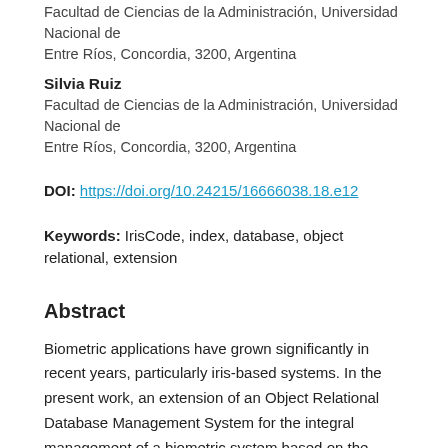Facultad de Ciencias de la Administración, Universidad Nacional de Entre Ríos, Concordia, 3200, Argentina
Silvia Ruiz
Facultad de Ciencias de la Administración, Universidad Nacional de Entre Ríos, Concordia, 3200, Argentina
DOI: https://doi.org/10.24215/16666038.18.e12
Keywords: IrisCode, index, database, object relational, extension
Abstract
Biometric applications have grown significantly in recent years, particularly iris-based systems. In the present work, an extension of an Object Relational Database Management System for the integral management of a biometric system based on the human iris was presented. Although at present, there are many database extensions for different domains, in no case for biometric